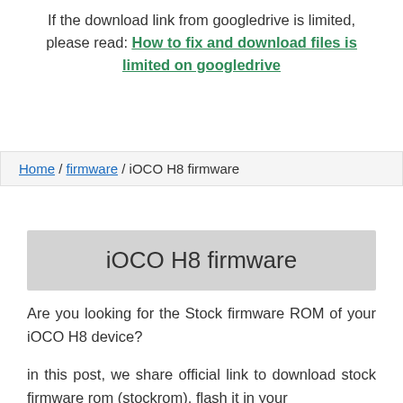If the download link from googledrive is limited, please read: How to fix and download files is limited on googledrive
Home / firmware / iOCO H8 firmware
iOCO H8 firmware
Are you looking for the Stock firmware ROM of your iOCO H8 device?
in this post, we share official link to download stock firmware rom (stockrom). flash it in your